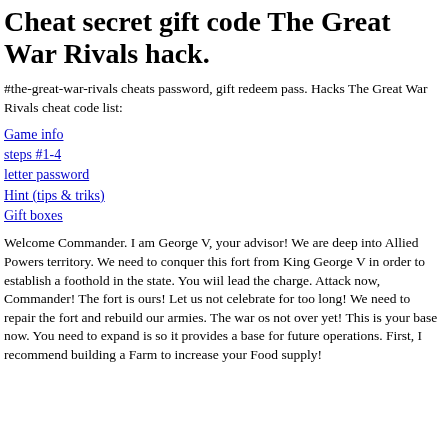Cheat secret gift code The Great War Rivals hack.
#the-great-war-rivals cheats password, gift redeem pass. Hacks The Great War Rivals cheat code list:
Game info
steps #1-4
letter password
Hint (tips & triks)
Gift boxes
Welcome Commander. I am George V, your advisor! We are deep into Allied Powers territory. We need to conquer this fort from King George V in order to establish a foothold in the state. You wiil lead the charge. Attack now, Commander! The fort is ours! Let us not celebrate for too long! We need to repair the fort and rebuild our armies. The war os not over yet! This is your base now. You need to expand is so it provides a base for future operations. First, I recommend building a Farm to increase your Food supply!